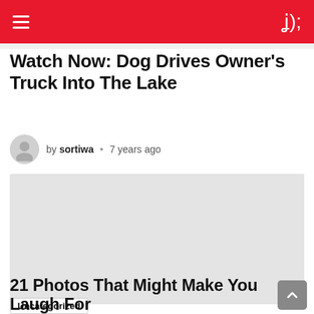Watch Now: Dog Drives Owner's Truck Into The Lake
by sortiwa • 7 years ago
[Figure (photo): Placeholder/blank image area for embedded video or photo]
Uncategorized
21 Photos That Might Make You Laugh For